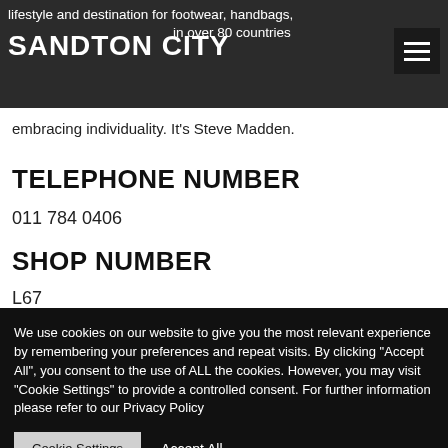lifestyle and destination for footwear, handbags, accessories in over 80 countries worldwide. It's about authenticity. It's about embracing individuality. It's Steve Madden.
TELEPHONE NUMBER
011 784 0406
SHOP NUMBER
L67
We use cookies on our website to give you the most relevant experience by remembering your preferences and repeat visits. By clicking "Accept All", you consent to the use of ALL the cookies. However, you may visit "Cookie Settings" to provide a controlled consent. For further information please refer to our Privacy Policy
Cookie Settings | Accept All